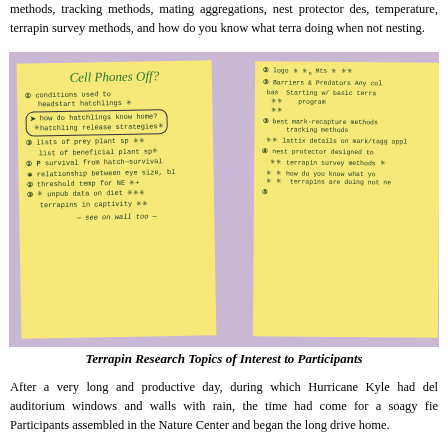methods, tracking methods, mating aggregations, nest protector designs, temperature, terrapin survey methods, and how do you know what terrapins are doing when not nesting.
[Figure (photo): Two yellow sticky notes on a purple/lavender background. The left note is titled 'Cell Phones Off?' in large handwriting and contains a handwritten list of research topics including conditions used to headstart hatchlings, how do hatchlings know home, hatchling release strategies, lists of prey/beneficial plant species, survival rates, relationship between eye size and survival, threshold temperature, unpublished data on diet, terrapins in captivity, and 'see on wall too'. The right note contains additional topics including logo/marks, barrier/predator topics, basics of a terrapin program, best mark-recapture methods, tracking methods, lattice details on mark/tagging, nest protector designs, terrapin survey methods, how do you know what terrapins are doing when not nesting.]
Terrapin Research Topics of Interest to Participants
After a very long and productive day, during which Hurricane Kyle had del auditorium windows and walls with rain, the time had come for a soagy fie Participants assembled in the Nature Center and began the long drive home.